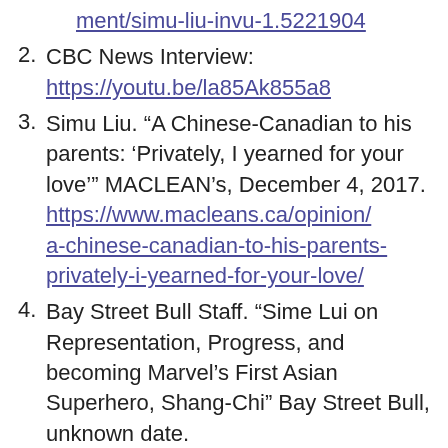ment/simu-liu-invu-1.5221904
CBC News Interview: https://youtu.be/la85Ak855a8
Simu Liu. "A Chinese-Canadian to his parents: ‘Privately, I yearned for your love’" MACLEAN’s, December 4, 2017. https://www.macleans.ca/opinion/a-chinese-canadian-to-his-parents-privately-i-yearned-for-your-love/
Bay Street Bull Staff. “Sime Lui on Representation, Progress, and becoming Marvel’s First Asian Superhero, Shang-Chi” Bay Street Bull, unknown date. https://www.baystbull.com/simu-liu-on-becoming-marvels-first-asian-